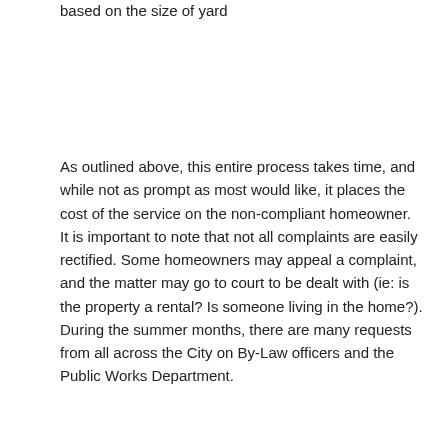based on the size of yard
As outlined above, this entire process takes time, and while not as prompt as most would like, it places the cost of the service on the non-compliant homeowner.   It is important to note that not all complaints are easily rectified. Some homeowners may appeal a complaint, and the matter may go to court to be dealt with (ie: is the property a rental?  Is someone living in the home?).  During the summer months, there are many requests from all across the City on By-Law officers and the Public Works Department.